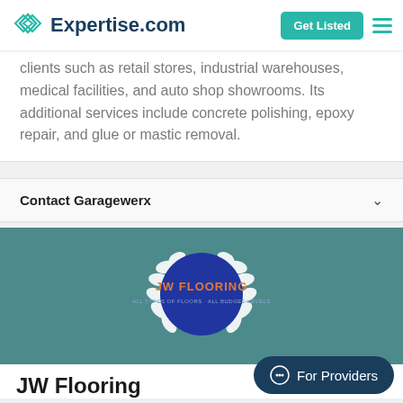Expertise.com | Get Listed
clients such as retail stores, industrial warehouses, medical facilities, and auto shop showrooms. Its additional services include concrete polishing, epoxy repair, and glue or mastic removal.
Contact Garagewerx
[Figure (logo): JW Flooring logo — blue circle with laurel wreath on teal background]
JW Flooring